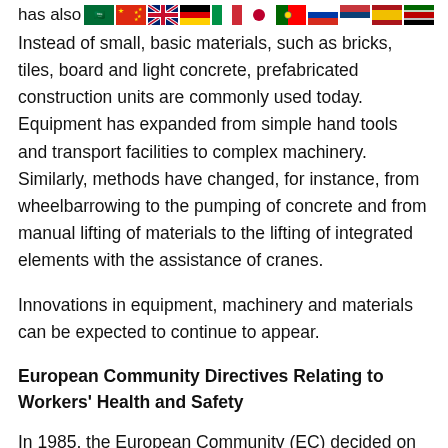has also [flags]
Instead of small, basic materials, such as bricks, tiles, board and light concrete, prefabricated construction units are commonly used today. Equipment has expanded from simple hand tools and transport facilities to complex machinery. Similarly, methods have changed, for instance, from wheelbarrowing to the pumping of concrete and from manual lifting of materials to the lifting of integrated elements with the assistance of cranes.
Innovations in equipment, machinery and materials can be expected to continue to appear.
European Community Directives Relating to Workers' Health and Safety
In 1985, the European Community (EC) decided on a “New Approach to Technical Harmonization and Standards” in order to facilitate the free movement of goods. The New Approach directives are Community laws which set out essential